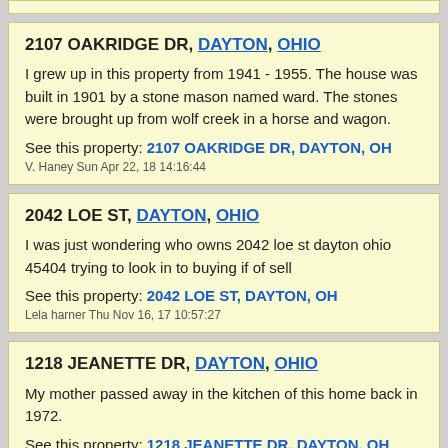2107 OAKRIDGE DR, DAYTON, OHIO
I grew up in this property from 1941 - 1955. The house was built in 1901 by a stone mason named ward. The stones were brought up from wolf creek in a horse and wagon.
See this property: 2107 OAKRIDGE DR, DAYTON, OH
V. Haney Sun Apr 22, 18 14:16:44
2042 LOE ST, DAYTON, OHIO
I was just wondering who owns 2042 loe st dayton ohio 45404 trying to look in to buying if of sell
See this property: 2042 LOE ST, DAYTON, OH
Lela harner Thu Nov 16, 17 10:57:27
1218 JEANETTE DR, DAYTON, OHIO
My mother passed away in the kitchen of this home back in 1972.
See this property: 1218 JEANETTE DR, DAYTON, OH